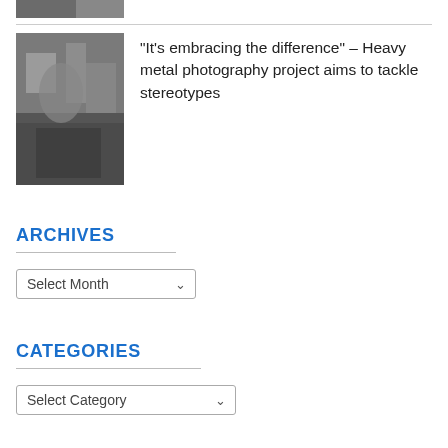[Figure (photo): Partial cropped photo at top, showing a person, cut off at bottom]
[Figure (photo): Photo of a person in a heavy metal jacket in a store with shelves in background]
“It’s embracing the difference” – Heavy metal photography project aims to tackle stereotypes
ARCHIVES
Select Month
CATEGORIES
Select Category